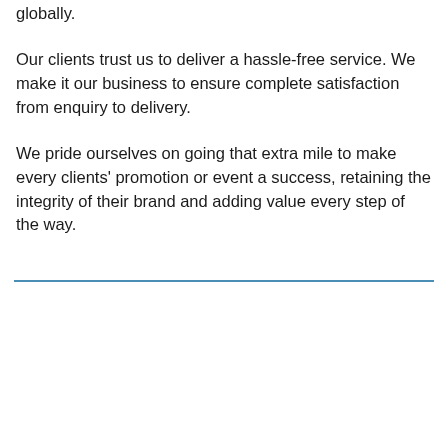globally.
Our clients trust us to deliver a hassle-free service. We make it our business to ensure complete satisfaction from enquiry to delivery.
We pride ourselves on going that extra mile to make every clients' promotion or event a success, retaining the integrity of their brand and adding value every step of the way.